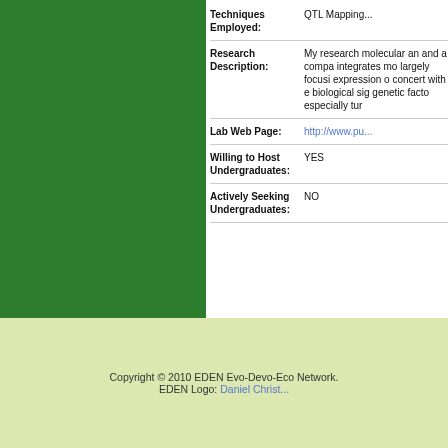[Figure (photo): Green rectangle block on the left side of the page]
Techniques Employed: QTL Mapping...
Research Description: My research molecular an and a compa integrates mo largely focusi expression o concert with e biological sig genetic facto especially tur
Lab Web Page: http://www.pu...
Willing to Host Undergraduates: YES
Actively Seeking Undergraduates: NO
Copyright © 2010 EDEN Evo-Devo-Eco Network. EDEN Logo: Daniel Christ...